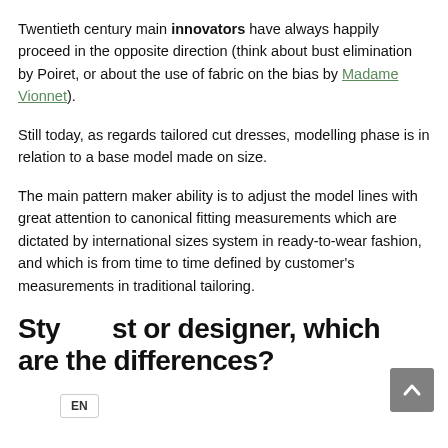Twentieth century main innovators have always happily proceed in the opposite direction (think about bust elimination by Poiret, or about the use of fabric on the bias by Madame Vionnet).
Still today, as regards tailored cut dresses, modelling phase is in relation to a base model made on size.
The main pattern maker ability is to adjust the model lines with great attention to canonical fitting measurements which are dictated by international sizes system in ready-to-wear fashion, and which is from time to time defined by customer's measurements in traditional tailoring.
Stylist or designer, which are the differences?